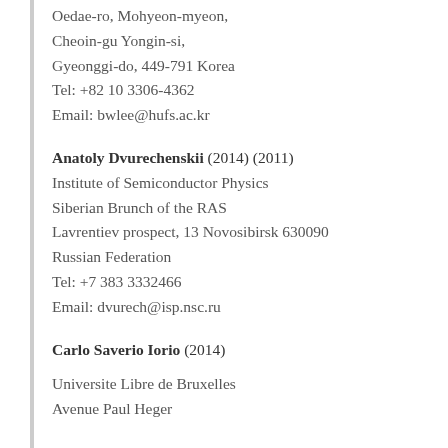Oedae-ro, Mohyeon-myeon,
Cheoin-gu Yongin-si,
Gyeonggi-do, 449-791 Korea
Tel: +82 10 3306-4362
Email: bwlee@hufs.ac.kr
Anatoly Dvurechenskii (2014) (2011)
Institute of Semiconductor Physics
Siberian Brunch of the RAS
Lavrentiev prospect, 13 Novosibirsk 630090
Russian Federation
Tel: +7 383 3332466
Email: dvurech@isp.nsc.ru
Carlo Saverio Iorio (2014)
Universite Libre de Bruxelles
Avenue Paul Heger